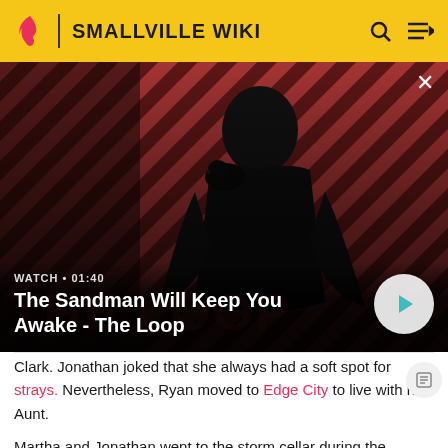SMALLVILLE WIKI
[Figure (screenshot): Video thumbnail showing a dark-cloaked figure with a raven on shoulder against a red diagonal striped background. Video title overlay reads 'The Sandman Will Keep You Awake - The Loop' with WATCH • 01:40 label and a play button.]
Clark. Jonathan joked that she always had a soft spot for strays. Nevertheless, Ryan moved to Edge City to live with his Aunt.
Martha and Jonathan went to the storm cellar during the tornado storm and discovered Roger Nixon gathering